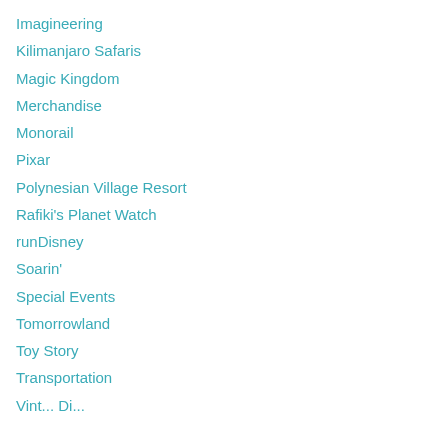Imagineering
Kilimanjaro Safaris
Magic Kingdom
Merchandise
Monorail
Pixar
Polynesian Village Resort
Rafiki's Planet Watch
runDisney
Soarin'
Special Events
Tomorrowland
Toy Story
Transportation
Vint... Di...